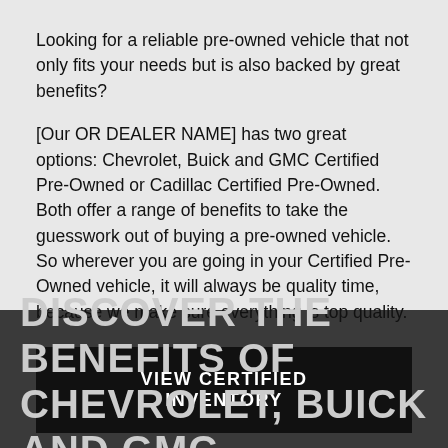Looking for a reliable pre-owned vehicle that not only fits your needs but is also backed by great benefits?
[Our OR DEALER NAME] has two great options: Chevrolet, Buick and GMC Certified Pre-Owned or Cadillac Certified Pre-Owned. Both offer a range of benefits to take the guesswork out of buying a pre-owned vehicle. So wherever you are going in your Certified Pre-Owned vehicle, it will always be quality time, because we make sure everything is top quality.
VIEW CERTIFIED INVENTORY
DISCOVER THE BENEFITS OF CHEVROLET, BUICK AND GMC